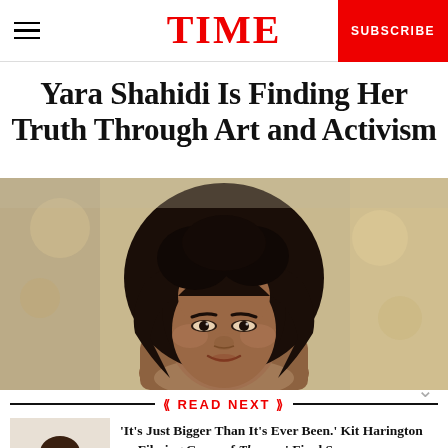TIME — SUBSCRIBE
Yara Shahidi Is Finding Her Truth Through Art and Activism
[Figure (photo): Portrait of Yara Shahidi, a young woman with voluminous curly black hair, looking upward slightly, with a blurred outdoor background]
READ NEXT
[Figure (photo): Thumbnail photo of Kit Harington in a white shirt]
'It's Just Bigger Than It's Ever Been.' Kit Harington on Filming Game of Thrones' Final Season